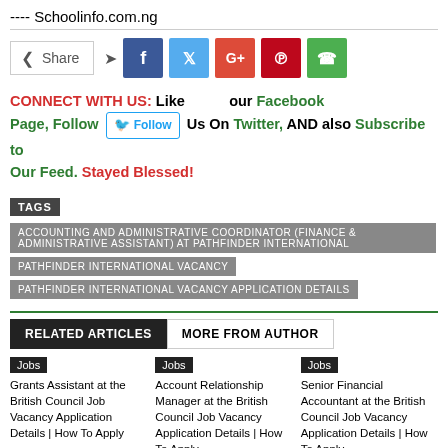---- Schoolinfo.com.ng
Share [social buttons: Facebook, Twitter, Google+, Pinterest, WhatsApp]
CONNECT WITH US: Like our Facebook Page, Follow Us On Twitter, AND also Subscribe to Our Feed. Stayed Blessed!
TAGS
ACCOUNTING AND ADMINISTRATIVE COORDINATOR (FINANCE & ADMINISTRATIVE ASSISTANT) AT PATHFINDER INTERNATIONAL
PATHFINDER INTERNATIONAL VACANCY
PATHFINDER INTERNATIONAL VACANCY APPLICATION DETAILS
RELATED ARTICLES | MORE FROM AUTHOR
Jobs — Grants Assistant at the British Council Job Vacancy Application Details | How To Apply
Jobs — Account Relationship Manager at the British Council Job Vacancy Application Details | How To Apply
Jobs — Senior Financial Accountant at the British Council Job Vacancy Application Details | How To Apply
Jobs [second row, three columns]